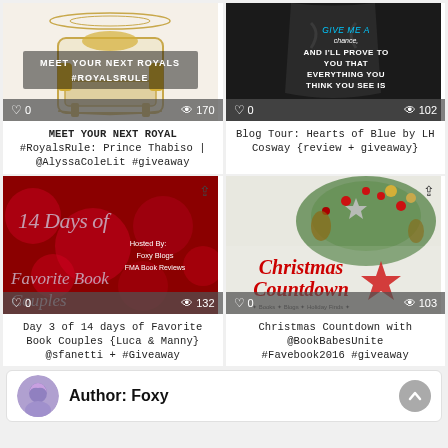[Figure (illustration): Gold ornate throne chair with text MEET YOUR NEXT ROYALS #ROYALSRULE on cream background]
MEET YOUR NEXT ROYAL #RoyalsRule: Prince Thabiso | @AlyssaColeLit #giveaway
[Figure (illustration): Dark image of muscular torso with cyan text: GIVE ME A chance, AND I'LL PROVE TO YOU THAT EVERYTHING YOU THINK YOU SEE IS]
Blog Tour: Hearts of Blue by LH Cosway {review + giveaway}
[Figure (illustration): Red bokeh background with script text: 14 Days of Favorite Book Couples. Hosted By: Foxy Blogs FMA Book Reviews]
Day 3 of 14 days of Favorite Book Couples {Luca & Manny} @sfanetti + #Giveaway
[Figure (illustration): Christmas wreath decoration with red text: Christmas Countdown. Subtitle: Books + Blogs + Holiday Finds]
Christmas Countdown with @BookBabesUnite #Favebook2016 #giveaway
Author: Foxy